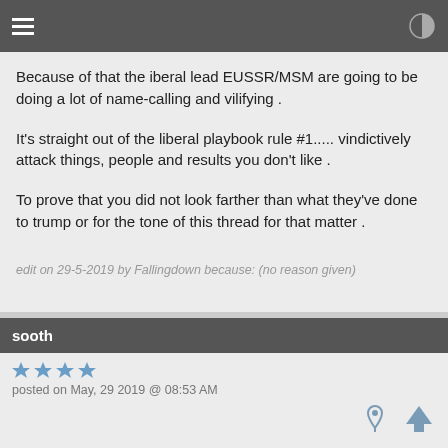Because of that the iberal lead EUSSR/MSM are going to be doing a lot of name-calling and vilifying .
It's straight out of the liberal playbook rule #1..... vindictively attack things, people and results you don't like .
To prove that you did not look farther than what they've done to trump or for the tone of this thread for that matter .
edit on 29-5-2019 by Fallingdown because: (no reason given)
sooth
posted on May, 29 2019 @ 08:53 AM